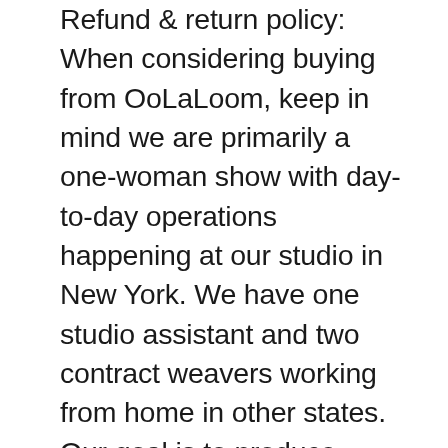Refund & return policy: When considering buying from OoLaLoom, keep in mind we are primarily a one-woman show with day-to-day operations happening at our studio in New York. We have one studio assistant and two contract weavers working from home in other states. Our goal is to produce quality handdyed, handwoven, functional, beautiful textiles and our process consists of many steps that are done entirely by hand. As such, expect your textile to contain signs of the hand such as visible bobbin changes, imperfections in the selvage or fringe, cosmetic mends of knots or skips, minor